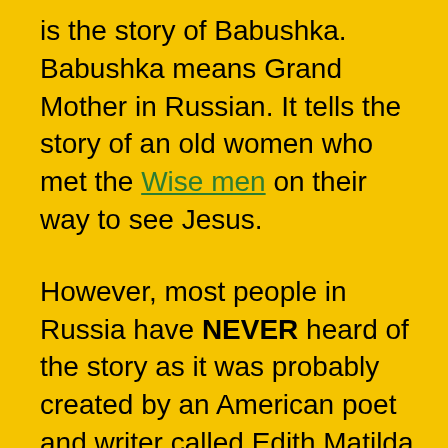is the story of Babushka. Babushka means Grand Mother in Russian. It tells the story of an old women who met the Wise men on their way to see Jesus.
However, most people in Russia have NEVER heard of the story as it was probably created by an American poet and writer called Edith Matilda Thomas in 1907! I've had many emails from Russian visitors to the site who have never heard the story before!
The Story of Babushka
Once in a small Russian town, there lived a women called Babushka. Babushka always had work to do sweeping, polishing, dusting and cleaning. Her house was the best kept most pristinely clean in the ... and her